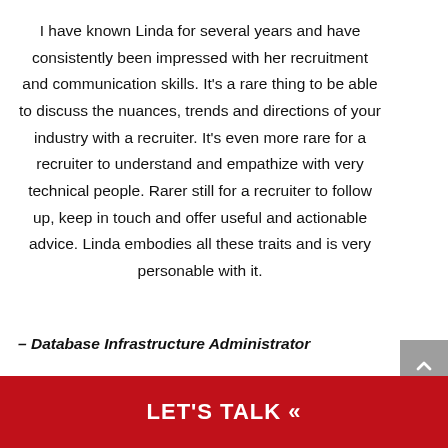I have known Linda for several years and have consistently been impressed with her recruitment and communication skills. It's a rare thing to be able to discuss the nuances, trends and directions of your industry with a recruiter. It's even more rare for a recruiter to understand and empathize with very technical people. Rarer still for a recruiter to follow up, keep in touch and offer useful and actionable advice. Linda embodies all these traits and is very personable with it.
– Database Infrastructure Administrator
LET'S TALK «